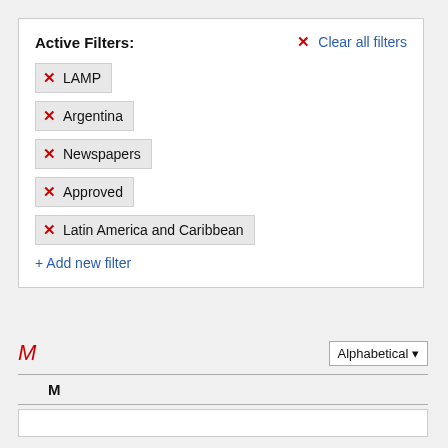Active Filters:
Clear all filters
LAMP
Argentina
Newspapers
Approved
Latin America and Caribbean
+ Add new filter
M
Alphabetical
M